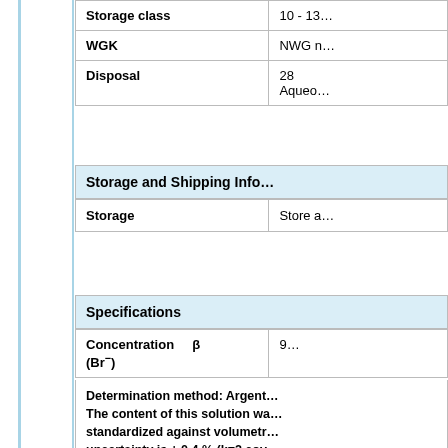|  |  |
| --- | --- |
| Storage class | 10 - 13… |
| WGK | NWG n… |
| Disposal | 28
Aqueo… |
Storage and Shipping Info…
|  |  |
| --- | --- |
| Storage | Store a… |
Specifications
|  |  |
| --- | --- |
| Concentration β (Br⁻) | 9… |
Determination method: Argent… The content of this solution wa… standardized against volumetr… uncertainty is ± 0.4 % (k=2 cov… primary standard NIST SRM 99… volumetric standard sodium c… Germany in accordance to DIN…